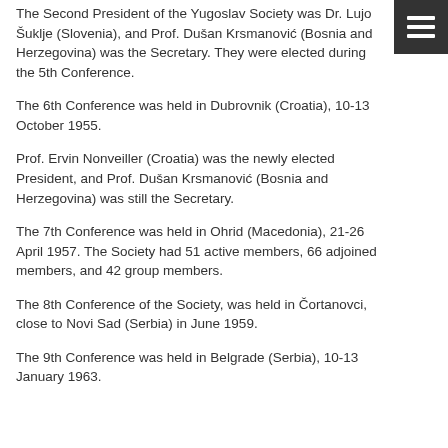The Second President of the Yugoslav Society was Dr. Lujo Šuklje (Slovenia), and Prof. Dušan Krsmanović (Bosnia and Herzegovina) was the Secretary. They were elected during the 5th Conference.
The 6th Conference was held in Dubrovnik (Croatia), 10-13 October 1955.
Prof. Ervin Nonveiller (Croatia) was the newly elected President, and Prof. Dušan Krsmanović (Bosnia and Herzegovina) was still the Secretary.
The 7th Conference was held in Ohrid (Macedonia), 21-26 April 1957. The Society had 51 active members, 66 adjoined members, and 42 group members.
The 8th Conference of the Society, was held in Čortanovci, close to Novi Sad (Serbia) in June 1959.
The 9th Conference was held in Belgrade (Serbia), 10-13 January 1963.